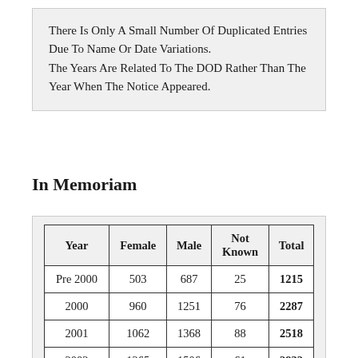There Is Only A Small Number Of Duplicated Entries Due To Name Or Date Variations. The Years Are Related To The DOD Rather Than The Year When The Notice Appeared.
In Memoriam
| Year | Female | Male | Not Known | Total |
| --- | --- | --- | --- | --- |
| Pre 2000 | 503 | 687 | 25 | 1215 |
| 2000 | 960 | 1251 | 76 | 2287 |
| 2001 | 1062 | 1368 | 88 | 2518 |
| 2002 | 1265 | 1506 | 61 | 2832 |
| 2003 | 1368 | 1704 | 72 | 3144 |
| 2004 | 1798 | 2277 | 112 | 4187 |